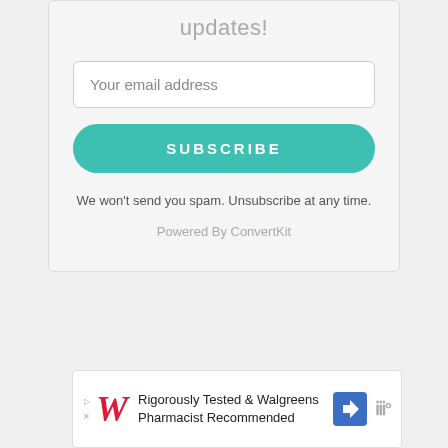updates!
Your email address
SUBSCRIBE
We won't send you spam. Unsubscribe at any time.
Powered By ConvertKit
[Figure (infographic): Walgreens advertisement banner: Rigorously Tested & Walgreens Pharmacist Recommended, with Walgreens W logo and navigation icon]